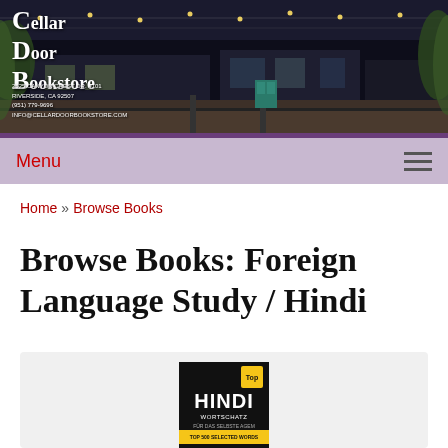[Figure (photo): Cellar Door Bookstore exterior at dusk with string lights and lush green vines covering the building]
Cellar Door Bookstore
Menu
Home » Browse Books
Browse Books: Foreign Language Study / Hindi
[Figure (photo): Book cover: HINDI WORTSCHATZ - black cover with yellow band, DEUTSCH text at bottom, Top badge in upper right corner]